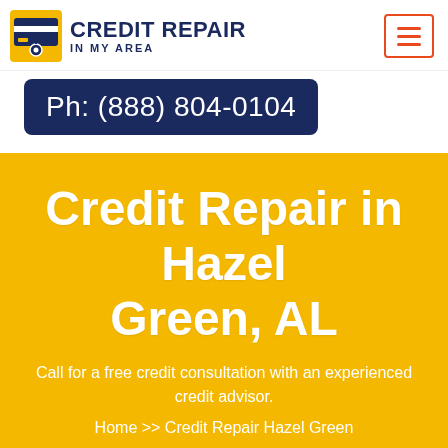CREDIT REPAIR IN MY AREA
Ph: (888) 804-0104
Credit Repair in Hazel Green, AL
Call for a free credit consultation with an experienced credit advisor.
Home >> Credit Repair Hazel Green
Call Now : (888) 804-0104